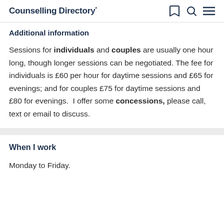Counselling Directory
Additional information
Sessions for individuals and couples are usually one hour long, though longer sessions can be negotiated. The fee for individuals is £60 per hour for daytime sessions and £65 for evenings; and for couples £75 for daytime sessions and £80 for evenings.  I offer some concessions, please call, text or email to discuss.
When I work
Monday to Friday.